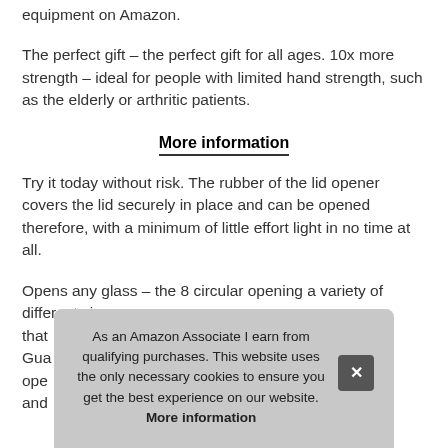equipment on Amazon.
The perfect gift – the perfect gift for all ages. 10x more strength – ideal for people with limited hand strength, such as the elderly or arthritic patients.
More information
Try it today without risk. The rubber of the lid opener covers the lid securely in place and can be opened therefore, with a minimum of little effort light in no time at all.
Opens any glass – the 8 circular opening a variety of different size
that
Gua
ope
and
As an Amazon Associate I earn from qualifying purchases. This website uses the only necessary cookies to ensure you get the best experience on our website. More information